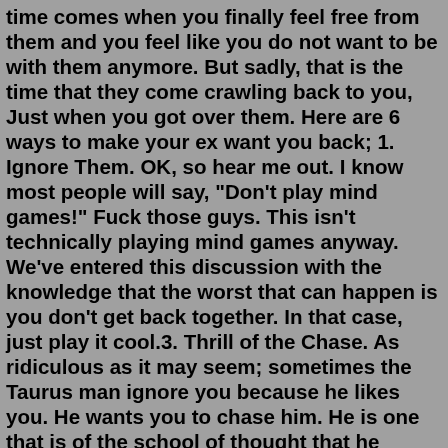time comes when you finally feel free from them and you feel like you do not want to be with them anymore. But sadly, that is the time that they come crawling back to you, Just when you got over them. Here are 6 ways to make your ex want you back; 1. Ignore Them. OK, so hear me out. I know most people will say, "Don't play mind games!" Fuck those guys. This isn't technically playing mind games anyway. We've entered this discussion with the knowledge that the worst that can happen is you don't get back together. In that case, just play it cool.3. Thrill of the Chase. As ridiculous as it may seem; sometimes the Taurus man ignore you because he likes you. He wants you to chase him. He is one that is of the school of thought that he shouldn't have to pursue someone he likes. He figures if you like him; you'll come chasing him down.Nov 07, 2016 · 16 Reasons Why Guys Come Back...And Trust Me, They ALWAYS Do. He actually misses you. " Jealousy: When guys see an ex-girlfriend with another guy it really gets his blood boiling. He'll either make sure